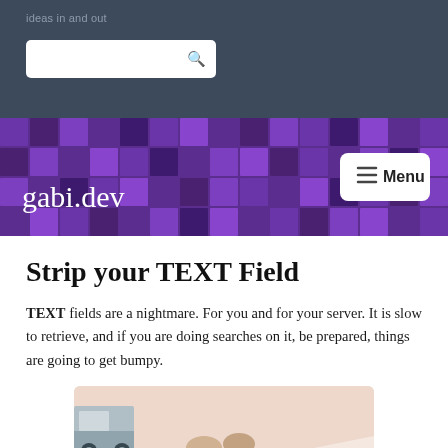ideas in and out
gabi.dev
Strip your TEXT Field
TEXT fields are a nightmare. For you and for your server. It is slow to retrieve, and if you are doing searches on it, be prepared, things are going to get bumpy.
[Figure (illustration): Partial illustration showing a cartoon scene with a vehicle or truck in a pink/beige background, partially cut off at the bottom of the page.]